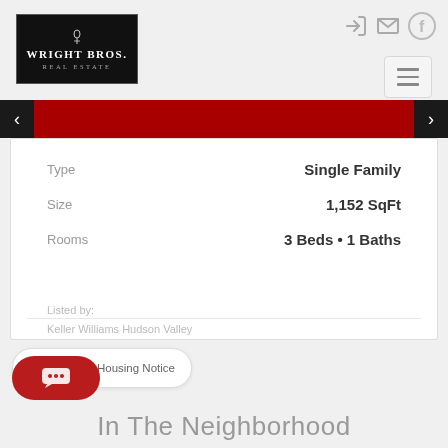[Figure (logo): Wright Bros Real Estate logo on black background]
| Field | Value |
| --- | --- |
| Type | Single Family |
| Size | 1,152 SqFt |
| Rooms | 3 Beds • 1 Baths |
Listed by: Keller Williams Hudson Valley
NY Fair Housing Notice
In The Neighborhood